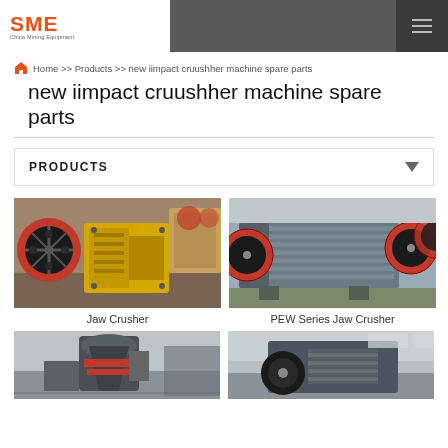[Figure (logo): SME China Mining Equipment logo in top left header]
Home >> Products >> new iimpact cruushher machine spare parts
new iimpact cruushher machine spare parts
PRODUCTS
[Figure (photo): Jaw Crusher machine - yellow industrial jaw crusher with red flywheel]
Jaw Crusher
[Figure (photo): PEW Series Jaw Crusher - grey industrial crusher machine with red flywheel]
PEW Series Jaw Crusher
[Figure (photo): Bottom left product image - cone crusher in factory setting]
[Figure (photo): Bottom right product image - industrial crusher machinery]